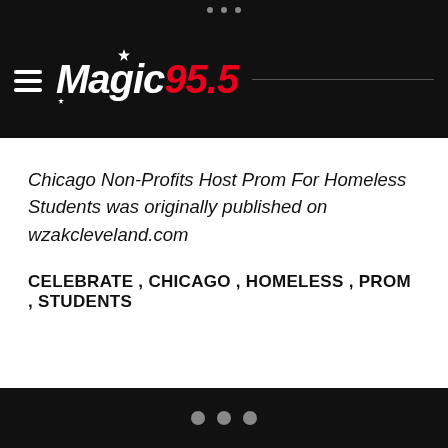Magic 95.5
Chicago Non-Profits Host Prom For Homeless Students was originally published on wzakcleveland.com
CELEBRATE , CHICAGO , HOMELESS , PROM , STUDENTS